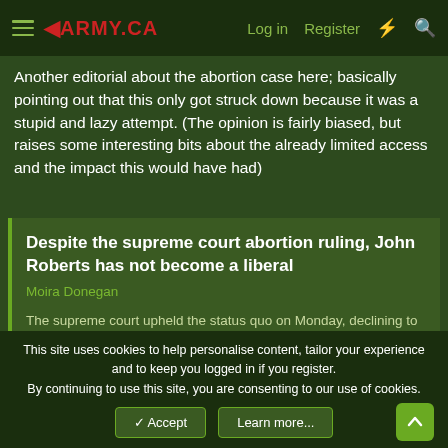◄ARMY.CA   Log in   Register
Another editorial about the abortion case here; basically pointing out that this only got struck down because it was a stupid and lazy attempt. (The opinion is fairly biased, but raises some interesting bits about the already limited access and the impact this would have had)
Despite the supreme court abortion ruling, John Roberts has not become a liberal
Moira Donegan
The supreme court upheld the status quo on Monday, declining to further erode women's rights for the time being. The court sided with plaintiffs representing Louisiana abortion providers in the case June
Click to expand...
This site uses cookies to help personalise content, tailor your experience and to keep you logged in if you register.
By continuing to use this site, you are consenting to our use of cookies.